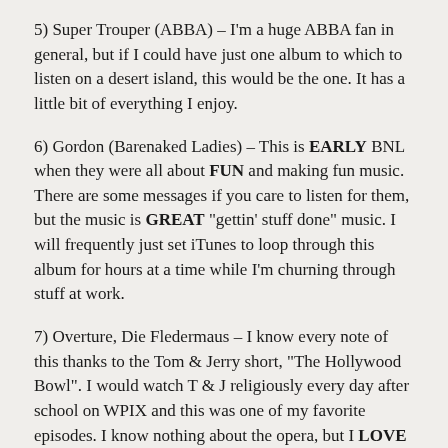5) Super Trouper (ABBA) – I'm a huge ABBA fan in general, but if I could have just one album to which to listen on a desert island, this would be the one. It has a little bit of everything I enjoy.
6) Gordon (Barenaked Ladies) – This is EARLY BNL when they were all about FUN and making fun music. There are some messages if you care to listen for them, but the music is GREAT "gettin' stuff done" music. I will frequently just set iTunes to loop through this album for hours at a time while I'm churning through stuff at work.
7) Overture, Die Fledermaus – I know every note of this thanks to the Tom & Jerry short, "The Hollywood Bowl". I would watch T & J religiously every day after school on WPIX and this was one of my favorite episodes. I know nothing about the opera, but I LOVE the music!